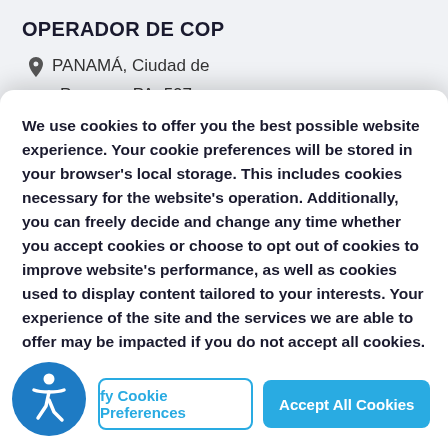OPERADOR DE COP
PANAMÁ, Ciudad de
Panama, PA, 507
We use cookies to offer you the best possible website experience. Your cookie preferences will be stored in your browser's local storage. This includes cookies necessary for the website's operation. Additionally, you can freely decide and change any time whether you accept cookies or choose to opt out of cookies to improve website's performance, as well as cookies used to display content tailored to your interests. Your experience of the site and the services we are able to offer may be impacted if you do not accept all cookies.
fy Cookie Preferences
Accept All Cookies